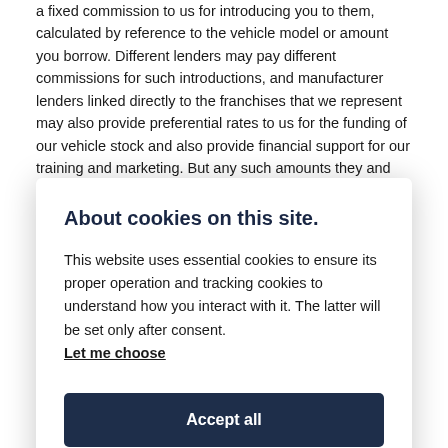a fixed commission to us for introducing you to them, calculated by reference to the vehicle model or amount you borrow. Different lenders may pay different commissions for such introductions, and manufacturer lenders linked directly to the franchises that we represent may also provide preferential rates to us for the funding of our vehicle stock and also provide financial support for our training and marketing. But any such amounts they and other lenders pay us will not affect the amounts you pay under your finance agreement, all of which are set by the lender concerned. If you ask us what the amount of commission is, we will tell you in good time before the Finance agreement is executed. All finance applications are
About cookies on this site.
This website uses essential cookies to ensure its proper operation and tracking cookies to understand how you interact with it. The latter will be set only after consent. Let me choose
Accept all
Reject all